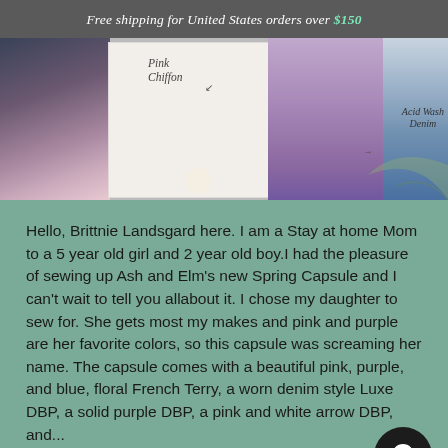Free shipping for United States orders over $150
[Figure (photo): Banner image showing fabric swatches (blue/purple/pink), a model wearing a light purple dress labeled 'Pink Chiffon', a model in blue leggings labeled 'Acid Wash Denim', with floral and leaf decorations]
Hello, Brittnie Landsgard here. I am a Stay at home Mom to a 5 year old girl and 2 year old boy.I had the pleasure of sewing up Ash and Elm's new Spring Capsule and I can't wait to tell you allabout it. I chose my daughter to sew for. She gets most my makes and pink and purple are her favorite colors, so this capsule was screaming her name. The capsule comes with a beautiful pink, purple, and blue, floral French Terry, a worn denim style Luxe DBP, a solid purple DBP, a pink and white arrow DBP, and...
Read more